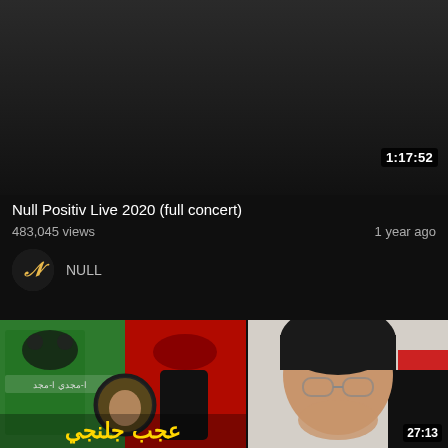[Figure (screenshot): YouTube video thumbnail - dark background with duration badge showing 1:17:52]
Null Positiv Live 2020 (full concert)
483,045 views
1 year ago
NULL
[Figure (screenshot): Two video thumbnails at the bottom: left shows gaming/anime character thumbnails with Arabic text overlay, right shows a young man with glasses and hands raised to his face with duration 27:13]